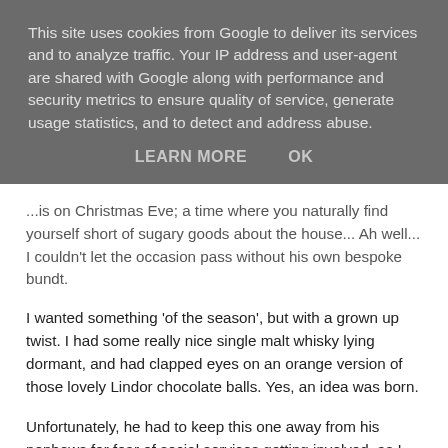This site uses cookies from Google to deliver its services and to analyze traffic. Your IP address and user-agent are shared with Google along with performance and security metrics to ensure quality of service, generate usage statistics, and to detect and address abuse.
LEARN MORE   OK
...is on Christmas Eve; a time where you naturally find yourself short of sugary goods about the house... Ah well... I couldn't let the occasion pass without his own bespoke bundt.
I wanted something 'of the season', but with a grown up twist. I had some really nice single malt whisky lying dormant, and had clapped eyes on an orange version of those lovely Lindor chocolate balls. Yes, an idea was born.
Unfortunately, he had to keep this one away from his nephews for fear of social services getting involved, as I put so much booze in it that I was likely to have given a positive breath test from just sniffing the icing. Felt a bit tight...